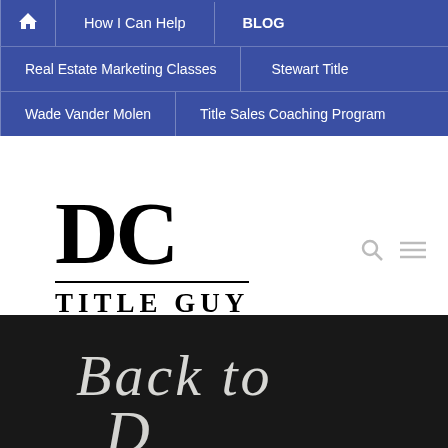🏠 | How I Can Help | BLOG
Real Estate Marketing Classes | Stewart Title
Wade Vander Molen | Title Sales Coaching Program
[Figure (logo): DC Title Guy logo — large serif DC letters over underline with TITLE GUY text below]
[Figure (photo): Chalkboard with 'Back to' written in chalk handwriting (partial, cropped)]